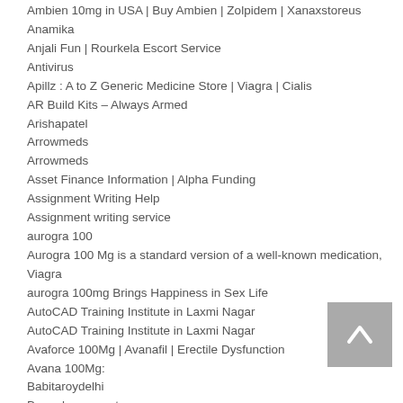Ambien 10mg in USA | Buy Ambien | Zolpidem | Xanaxstoreus
Anamika
Anjali Fun | Rourkela Escort Service
Antivirus
Apillz : A to Z Generic Medicine Store | Viagra | Cialis
AR Build Kits – Always Armed
Arishapatel
Arrowmeds
Arrowmeds
Asset Finance Information | Alpha Funding
Assignment Writing Help
Assignment writing service
aurogra 100
Aurogra 100 Mg is a standard version of a well-known medication, Viagra
aurogra 100mg Brings Happiness in Sex Life
AutoCAD Training Institute in Laxmi Nagar
AutoCAD Training Institute in Laxmi Nagar
Avaforce 100Mg | Avanafil | Erectile Dysfunction
Avana 100Mg:
Babitaroydelhi
Bangalore escorts
bangalore escorts
Bangalore Escorts | Nehamari | Models in Bangalore